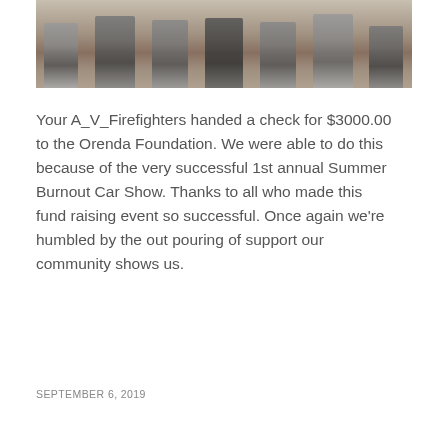[Figure (photo): Group photo of several people standing in a row outside a building, cropped to show only from the waist down, wearing shorts and casual clothing.]
Your A_V_Firefighters handed a check for $3000.00 to the Orenda Foundation. We were able to do this because of the very successful 1st annual Summer Burnout Car Show. Thanks to all who made this fund raising event so successful. Once again we're humbled by the out pouring of support our community shows us.
SEPTEMBER 6, 2019